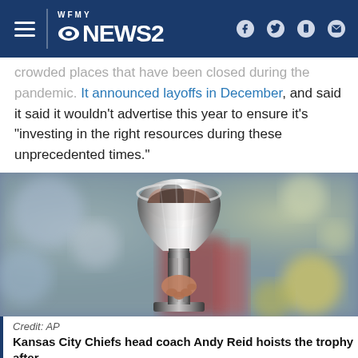WFMY NEWS 2
crowded places that have been closed during the pandemic. It announced layoffs in December, and said it said it wouldn't advertise this year to ensure it's "investing in the right resources during these unprecedented times."
[Figure (photo): A hand hoisting the Vince Lombardi Trophy (Super Bowl trophy) against a blurred colorful background]
Credit: AP
Kansas City Chiefs head coach Andy Reid hoists the trophy after